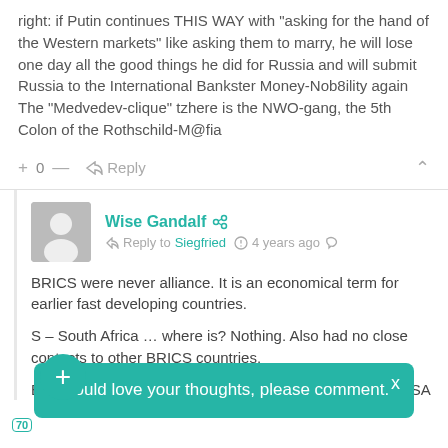right: if Putin continues THIS WAY with "asking for the hand of the Western markets" like asking them to marry, he will lose one day all the good things he did for Russia and will submit Russia to the International Bankster Money-Nob8ility again The "Medvedev-clique" tzhere is the NWO-gang, the 5th Colon of the Rothschild-M@fia
+ 0 —  Reply
Wise Gandalf
Reply to Siegfried  4 years ago
BRICS were never alliance. It is an economical term for earlier fast developing countries.
S – South Africa … where is? Nothing. Also had no close contacts to other BRICS countries.
B – Brazil... by CIA agent. ... es. To EU and USA
Would love your thoughts, please comment.